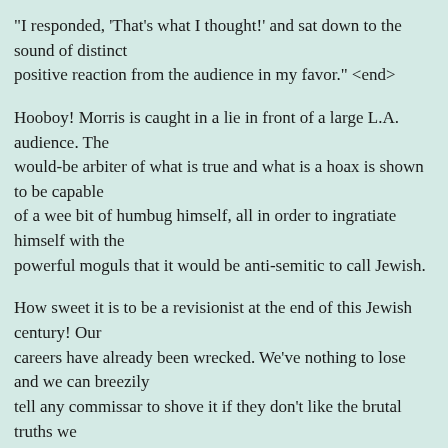"I responded, 'That's what I thought!' and sat down to the sound of distinct positive reaction from the audience in my favor." <end>
Hooboy! Morris is caught in a lie in front of a large L.A. audience. The would-be arbiter of what is true and what is a hoax is shown to be capable of a wee bit of humbug himself, all in order to ingratiate himself with the powerful moguls that it would be anti-semitic to call Jewish.
How sweet it is to be a revisionist at the end of this Jewish century! Our careers have already been wrecked. We've nothing to lose and we can breezily tell any commissar to shove it if they don't like the brutal truths we retail unflinchingly in our own books, videos and websites.
All the money in the world cannot buy the experience of total freedom that comes of such merry defiance! It is a sensation poor Mr. Morris, with all his funding and prestige, will never know, unless he too grows himself a